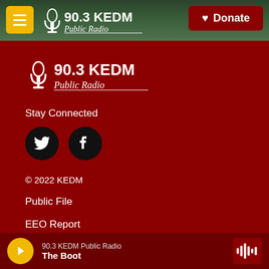90.3 KEDM Public Radio — Donate
[Figure (logo): 90.3 KEDM Public Radio logo in white on dark red background]
Stay Connected
[Figure (illustration): Twitter and Facebook social media icon circles]
© 2022 KEDM
Public File
EEO Report
Privacy
90.3 KEDM Public Radio — The Boot